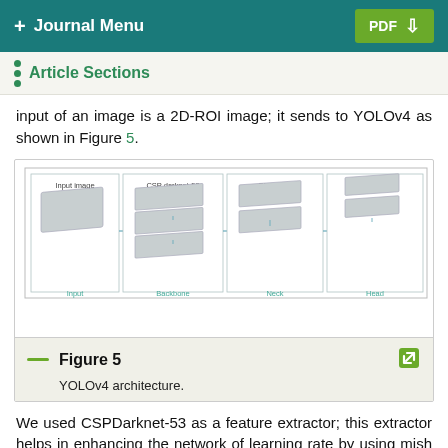+ Journal Menu  |  PDF ↓
Article Sections
input of an image is a 2D-ROI image; it sends to YOLOv4 as shown in Figure 5.
[Figure (engineering-diagram): YOLOv4 architecture diagram showing four stages: Input (single image block), Backbone (CSP darknet-53, stacked feature map layers), Neck (SPP, PAN, stacked feature map layers), and Head (YOLOv3, smaller stacked feature map layers), connected by arrows left to right.]
Figure 5 — YOLOv4 architecture.
We used CSPDarknet-53 as a feature extractor; this extractor helps in enhancing the network of learning rate by using mish activation in backbone. By using this feature extractor, it can